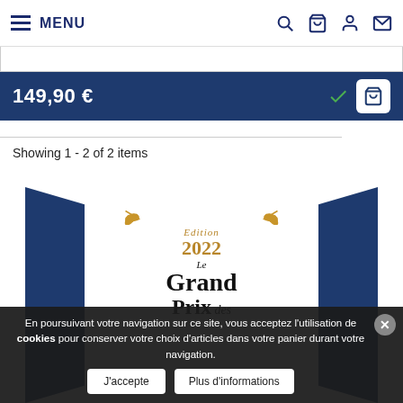MENU
149,90 €
Showing 1 - 2 of 2 items
[Figure (logo): Le Grand Prix des équipementiers de l'Auto 2022 award badge with golden laurel wreath decoration and auto moto magazine logo]
En poursuivant votre navigation sur ce site, vous acceptez l'utilisation de cookies pour conserver votre choix d'articles dans votre panier durant votre navigation.